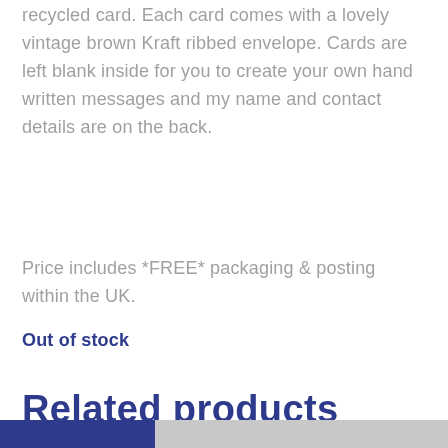recycled card. Each card comes with a lovely vintage brown Kraft ribbed envelope. Cards are left blank inside for you to create your own hand written messages and my name and contact details are on the back.
Price includes *FREE* packaging & posting within the UK.
Out of stock
Related products